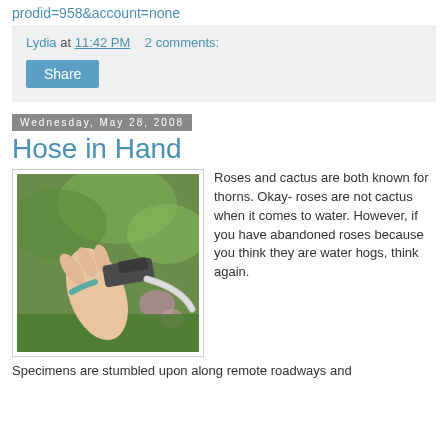prodid=958&account=none
Lydia at 11:42 PM   2 comments:
Share
Wednesday, May 28, 2008
Hose in Hand
[Figure (photo): A hand holding a garden hose nozzle/connector outdoors with greenery and flowers in the background.]
Roses and cactus are both known for thorns. Okay- roses are not cactus when it comes to water. However, if you have abandoned roses because you think they are water hogs, think again.
Specimens are stumbled upon along remote roadways and